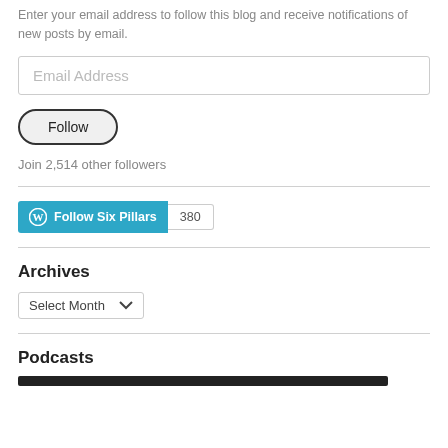Enter your email address to follow this blog and receive notifications of new posts by email.
Email Address
Follow
Join 2,514 other followers
[Figure (other): WordPress Follow Six Pillars button with follower count badge showing 380]
Archives
Select Month
Podcasts